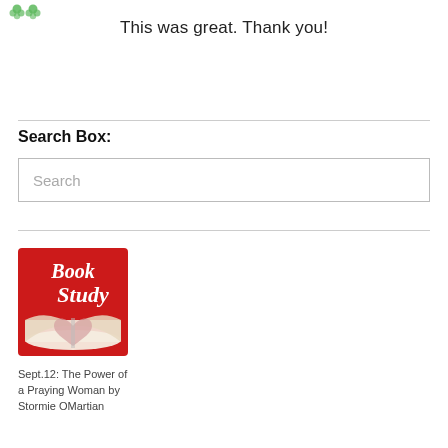[Figure (logo): Green decorative icon/logo at top left]
This was great. Thank you!
Search Box:
[Figure (screenshot): Search input box with placeholder text 'Search']
[Figure (illustration): Book Study image: red background with open book forming a heart shape, text 'Book Study' in white/italic]
Sept.12: The Power of a Praying Woman by Stormie OMartian